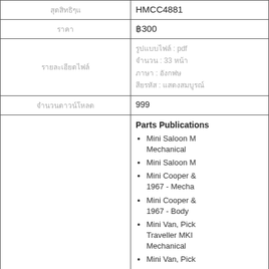| [Thai text] | HMCC4881 |
| [Thai text] | ฿300 |
| [Thai text] | [Thai text] : pdf
[Thai text] : 33 [Thai text]
[Thai text] : [Thai text]
[Thai text] : [Thai text] |
| [Thai text] | 999 |
|  | Parts Publications
• Mini Saloon M... Mechanical
• Mini Saloon M...
• Mini Cooper & ... 1967 - Mecha...
• Mini Cooper & ... 1967 - Body ...
• Mini Van, Pick... Traveller MKI... Mechanical
• Mini Van, Pick... |